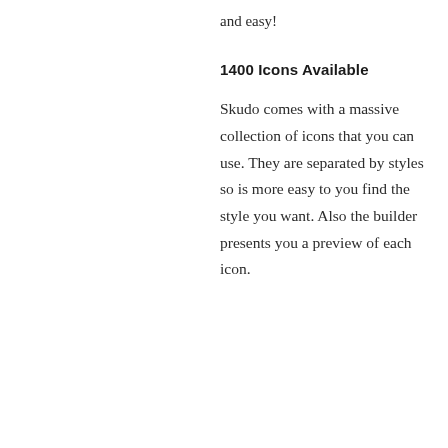and easy!
1400 Icons Available
Skudo comes with a massive collection of icons that you can use. They are separated by styles so is more easy to you find the style you want. Also the builder presents you a preview of each icon.